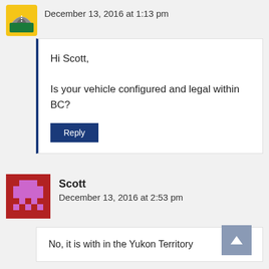December 13, 2016 at 1:13 pm
Hi Scott,

Is your vehicle configured and legal within BC?
Reply
Scott
December 13, 2016 at 2:53 pm
No, it is with in the Yukon Territory